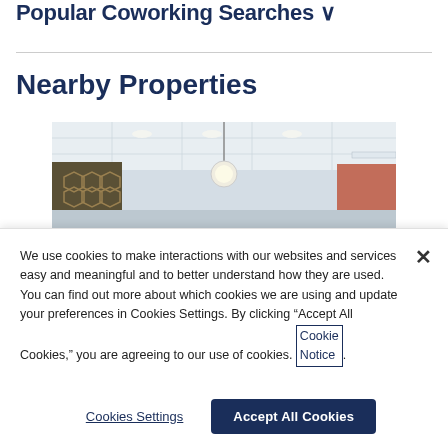Popular Coworking Searches ∨
Nearby Properties
[Figure (photo): Interior photo of a coworking space showing ceiling lights, a hanging globe light, geometric patterned wall panel on the left, and a coral/orange accent element on the right.]
We use cookies to make interactions with our websites and services easy and meaningful and to better understand how they are used. You can find out more about which cookies we are using and update your preferences in Cookies Settings. By clicking “Accept All Cookies,” you are agreeing to our use of cookies. Cookie Notice.
Cookies Settings
Accept All Cookies